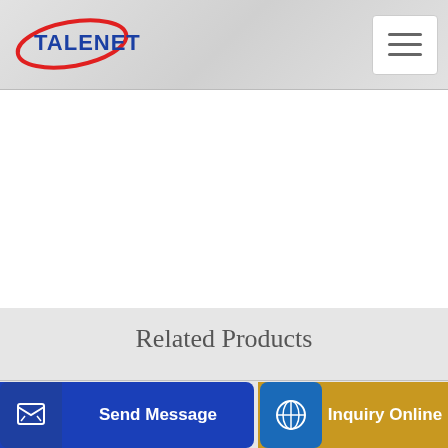[Figure (logo): Talenet company logo with red swoosh and blue text]
[Figure (other): Hamburger menu button (three horizontal lines)]
Related Products
Toro Concrete Mixer 9 CU FT 8HP
Hightech self load mobile concrete mixer mobile batch plant
Send Message
Inquiry Online